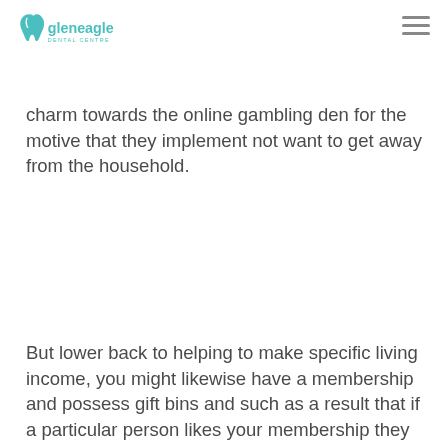Gleneagle Dental Centre
its beauty and its interesting does sound. This is one of the major reasons why they offer these free slots. It is actually a couple of your most results in for people's charm towards the online gambling den for the motive that they implement not want to get away from the household.
But lower back to helping to make specific living income, you might likewise have a membership and possess gift bins and such as a result that if a particular person likes your membership they might donate plenty of lindens to you. The first advice is to keep away from modern video games – they might audio tempting with their multi-million european jackpots, but since they are connected to a wide jackpot system spanning many online casinos and possess a lower payout proportion compared to the non-progressive slot machine game devices, there is a considerably higher possibility of winning when performing with the standalone ones, as they are